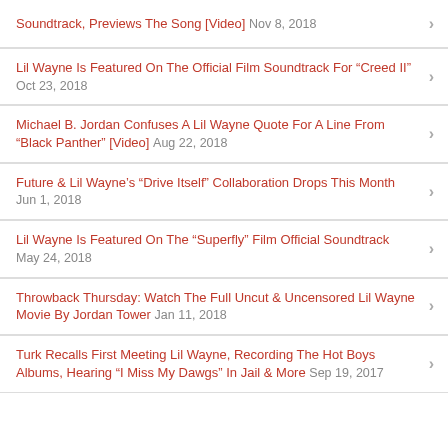Soundtrack, Previews The Song [Video] Nov 8, 2018
Lil Wayne Is Featured On The Official Film Soundtrack For "Creed II" Oct 23, 2018
Michael B. Jordan Confuses A Lil Wayne Quote For A Line From "Black Panther" [Video] Aug 22, 2018
Future & Lil Wayne's "Drive Itself" Collaboration Drops This Month Jun 1, 2018
Lil Wayne Is Featured On The "Superfly" Film Official Soundtrack May 24, 2018
Throwback Thursday: Watch The Full Uncut & Uncensored Lil Wayne Movie By Jordan Tower Jan 11, 2018
Turk Recalls First Meeting Lil Wayne, Recording The Hot Boys Albums, Hearing "I Miss My Dawgs" In Jail & More Sep 19, 2017